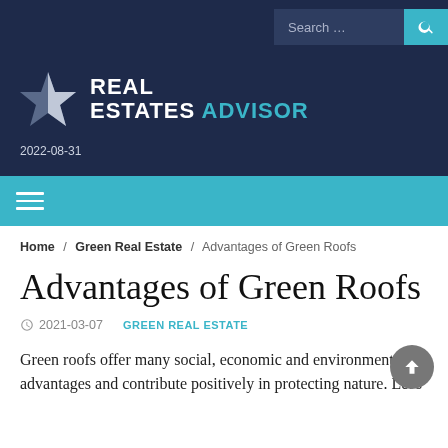Search …
[Figure (logo): Real Estates Advisor logo with silver star icon and white/teal text]
2022-08-31
Home / Green Real Estate / Advantages of Green Roofs
Advantages of Green Roofs
2021-03-07   GREEN REAL ESTATE
Green roofs offer many social, economic and environmental advantages and contribute positively in protecting nature. Let's